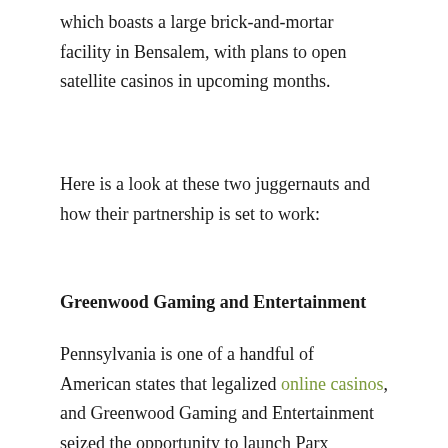which boasts a large brick-and-mortar facility in Bensalem, with plans to open satellite casinos in upcoming months.
Here is a look at these two juggernauts and how their partnership is set to work:
Greenwood Gaming and Entertainment
Pennsylvania is one of a handful of American states that legalized online casinos, and Greenwood Gaming and Entertainment seized the opportunity to launch Parx Interactive, an online gambling and sports betting platform. Parx's interactive offering is widely regarded as one of Pennsylvania's best online